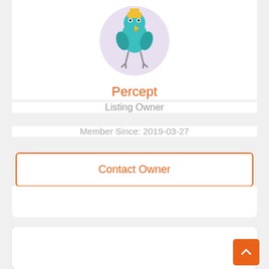[Figure (illustration): Cartoon bird mascot illustration on a light purple circular background]
Percept
Listing Owner
Member Since: 2019-03-27
Contact Owner
[Figure (other): Empty white card section]
Find IT Software · Call Cont...